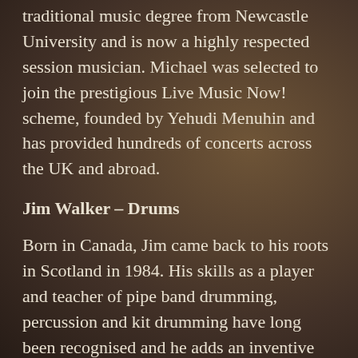traditional music degree from Newcastle University and is now a highly respected session musician. Michael was selected to join the prestigious Live Music Now! scheme, founded by Yehudi Menuhin and has provided hundreds of concerts across the UK and abroad.
Jim Walker – Drums
Born in Canada, Jim came back to his roots in Scotland in 1984. His skills as a player and teacher of pipe band drumming, percussion and kit drumming have long been recognised and he adds an inventive and powerful rhythmic structure to the band. For several years, he toured with Ceolbeg and has also